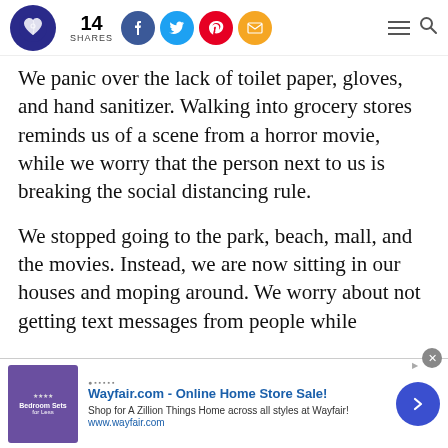14 SHARES [social share bar with Facebook, Twitter, Pinterest, Email icons] [hamburger menu] [search]
We panic over the lack of toilet paper, gloves, and hand sanitizer. Walking into grocery stores reminds us of a scene from a horror movie, while we worry that the person next to us is breaking the social distancing rule.
We stopped going to the park, beach, mall, and the movies. Instead, we are now sitting in our houses and moping around. We worry about not getting text messages from people while
[Figure (other): Wayfair.com advertisement banner at bottom of page. Shows a purple bedroom furniture image thumbnail, ad text: 'Wayfair.com - Online Home Store Sale! Shop for A Zillion Things Home across all styles at Wayfair! www.wayfair.com', with a blue arrow button and close X button.]